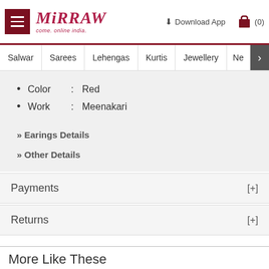[Figure (logo): Mirraw logo with hamburger menu icon]
Salwar  Sarees  Lehengas  Kurtis  Jewellery  Ne >
Color : Red
Work : Meenakari
» Earings Details
» Other Details
Payments [+]
Returns [+]
More Like These